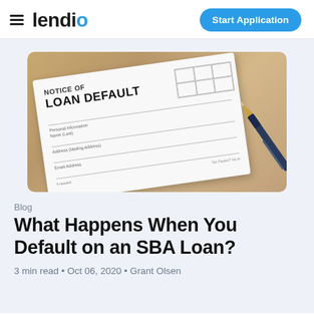lendio — Start Application
[Figure (photo): A Notice of Loan Default form document on a wooden table with a blue and gold pen resting on top of it, showing fields for Personal Information including Name, Mailing Address, and Email Address.]
Blog
What Happens When You Default on an SBA Loan?
3 min read • Oct 06, 2020 • Grant Olsen